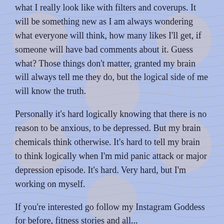what I really look like with filters and coverups. It will be something new as I am always wondering what everyone will think, how many likes I'll get, if someone will have bad comments about it. Guess what? Those things don't matter, granted my brain will always tell me they do, but the logical side of me will know the truth.
Personally it's hard logically knowing that there is no reason to be anxious, to be depressed. But my brain chemicals think otherwise. It's hard to tell my brain to think logically when I'm mid panic attack or major depression episode. It's hard. Very hard, but I'm working on myself.
If you're interested go follow my Instagram Goddess for before, fitness stories and all...